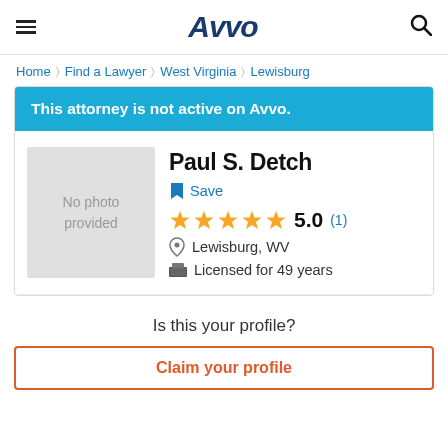Avvo
Home > Find a Lawyer > West Virginia > Lewisburg
This attorney is not active on Avvo.
Paul S. Detch
Save
5.0 (1)
Lewisburg, WV
Licensed for 49 years
Is this your profile?
Claim your profile